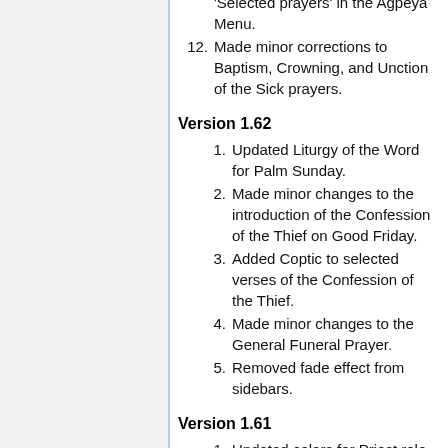12. Made minor corrections to Baptism, Crowning, and Unction of the Sick prayers.
Version 1.62
1. Updated Liturgy of the Word for Palm Sunday.
2. Made minor changes to the introduction of the Confession of the Thief on Good Friday.
3. Added Coptic to selected verses of the Confession of the Thief.
4. Made minor changes to the General Funeral Prayer.
5. Removed fade effect from sidebars.
Version 1.61
1. Updated colors for Priest role and